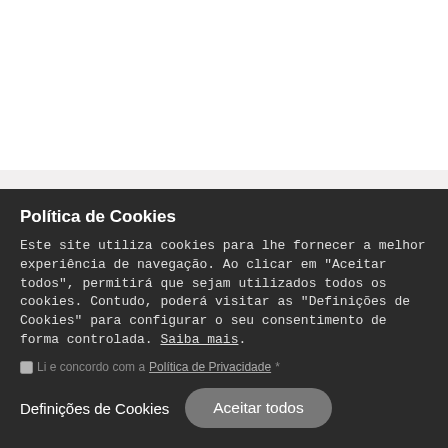Newsletter
Subscreva a nossa newsletter e receba sugestões, notícias e eventos do nosso município na sua caixa de email.
Política de Cookies
Este site utiliza cookies para lhe fornecer a melhor experiência de navegação. Ao clicar em "Aceitar todos", permitirá que sejam utilizados todos os cookies. Contudo, poderá visitar as "Definições de Cookies" para configurar o seu consentimento de forma controlada. Saiba mais.
Li e concordo com a Política de Privacidade *
Definições de Cookies    Aceitar todos